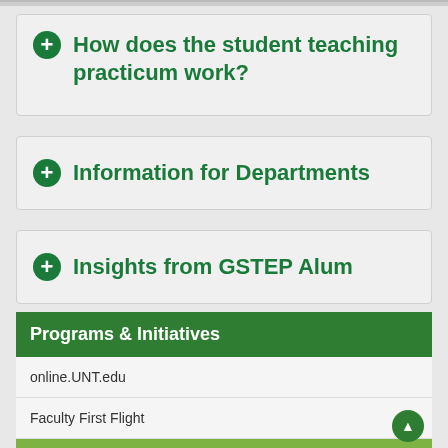How does the student teaching practicum work?
Information for Departments
Insights from GSTEP Alum
Programs & Initiatives
online.UNT.edu
Faculty First Flight
GSTEP: Graduate Student Teaching Excellence Program